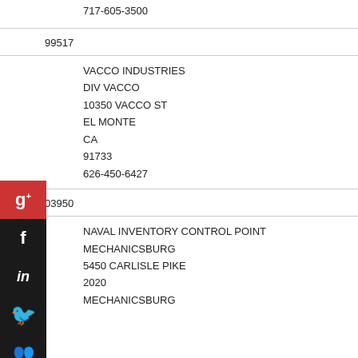717-605-3500
99517
VACCO INDUSTRIES
DIV VACCO
10350 VACCO ST
EL MONTE
CA
91733
626-450-6427
03950
NAVAL INVENTORY CONTROL POINT
MECHANICSBURG
5450 CARLISLE PIKE
2020
MECHANICSBURG